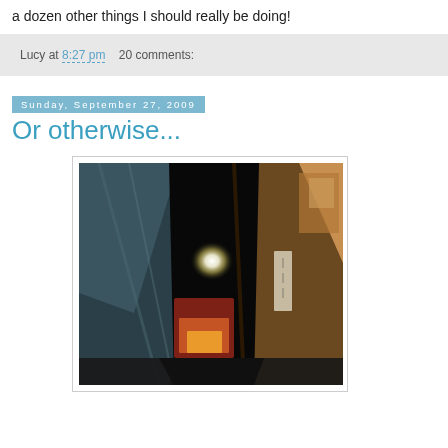a dozen other things I should really be doing!
Lucy at 8:27 pm    20 comments:
Sunday, September 27, 2009
Or otherwise...
[Figure (photo): A narrow nighttime alley with blurred lights, buildings, and signs, including what appears to be an Asian city street scene with illuminated storefronts and signage.]